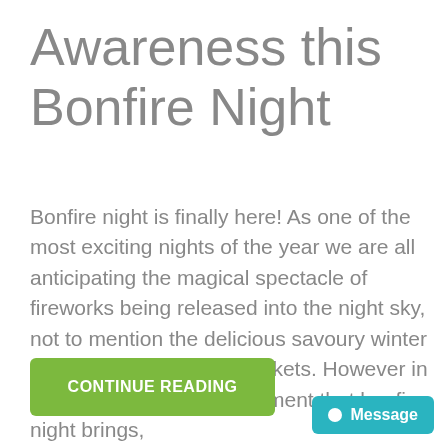Awareness this Bonfire Night
Bonfire night is finally here! As one of the most exciting nights of the year we are all anticipating the magical spectacle of fireworks being released into the night sky, not to mention the delicious savoury winter foods on offer at local markets. However in spite of the joy and excitement that bonfire night brings,
CONTINUE READING
Message